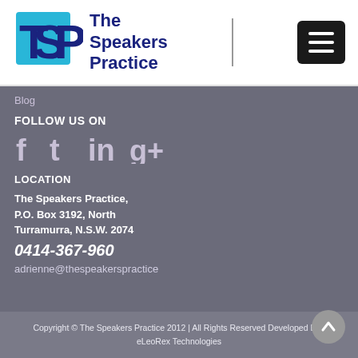[Figure (logo): The Speakers Practice logo with TSP letters in blue on cyan square background, beside bold dark blue text 'The Speakers Practice']
Blog
FOLLOW US ON
[Figure (other): Social media icons: Facebook, Twitter, LinkedIn, Google+]
LOCATION
The Speakers Practice, P.O. Box 3192, North Turramurra, N.S.W. 2074
0414-367-960
adrienne@thespeakerspractice
Copyright © The Speakers Practice 2012 | All Rights Reserved Developed By : eLeoRex Technologies